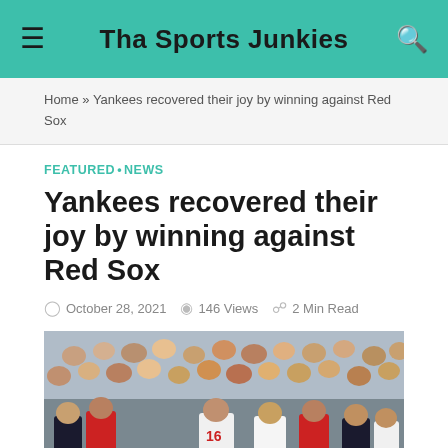Tha Sports Junkies
Home » Yankees recovered their joy by winning against Red Sox
FEATURED•NEWS
Yankees recovered their joy by winning against Red Sox
October 28, 2021   146 Views   2 Min Read
[Figure (photo): Baseball players from the Yankees and Red Sox in a bench-clearing brawl on the field, with a large crowd visible in the background. Player number 16 is visible in the center wearing a Red Sox uniform.]